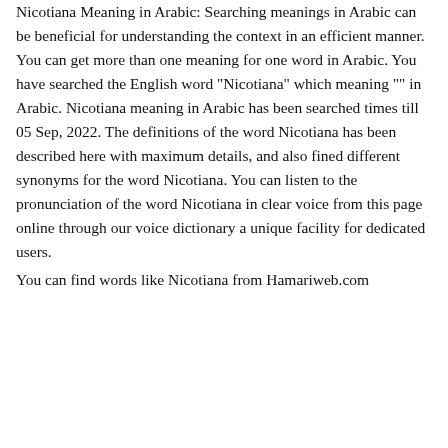Nicotiana Meaning in Arabic: Searching meanings in Arabic can be beneficial for understanding the context in an efficient manner. You can get more than one meaning for one word in Arabic. You have searched the English word "Nicotiana" which meaning "" in Arabic. Nicotiana meaning in Arabic has been searched times till 05 Sep, 2022. The definitions of the word Nicotiana has been described here with maximum details, and also fined different synonyms for the word Nicotiana. You can listen to the pronunciation of the word Nicotiana in clear voice from this page online through our voice dictionary a unique facility for dedicated users.
You can find words like Nicotiana from Hamariweb.com